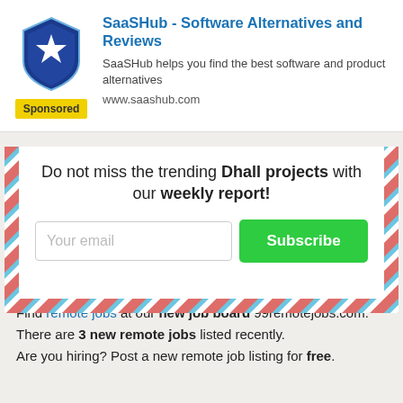[Figure (logo): SaaSHub shield logo with star, blue color]
SaaSHub - Software Alternatives and Reviews
SaaSHub helps you find the best software and product alternatives
www.saashub.com
Sponsored
[Figure (infographic): Air mail border newsletter signup box with diagonal red and blue stripes]
Do not miss the trending Dhall projects with our weekly report!
Your email
Subscribe
Find remote jobs at our new job board 99remotejobs.com. There are 3 new remote jobs listed recently. Are you hiring? Post a new remote job listing for free.